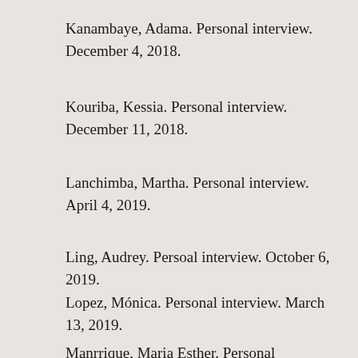Kanambaye, Adama. Personal interview. December 4, 2018.
Kouriba, Kessia. Personal interview. December 11, 2018.
Lanchimba, Martha. Personal interview. April 4, 2019.
Ling, Audrey. Persoal interview. October 6, 2019.
Lopez, Mónica. Personal interview. March 13, 2019.
Manrrique, Maria Esther. Personal interview. March 23, 2019.